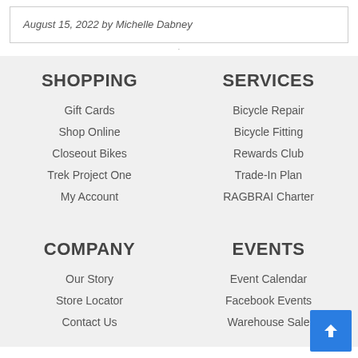August 15, 2022 by Michelle Dabney
SHOPPING
Gift Cards
Shop Online
Closeout Bikes
Trek Project One
My Account
SERVICES
Bicycle Repair
Bicycle Fitting
Rewards Club
Trade-In Plan
RAGBRAI Charter
COMPANY
Our Story
Store Locator
Contact Us
EVENTS
Event Calendar
Facebook Events
Warehouse Sale